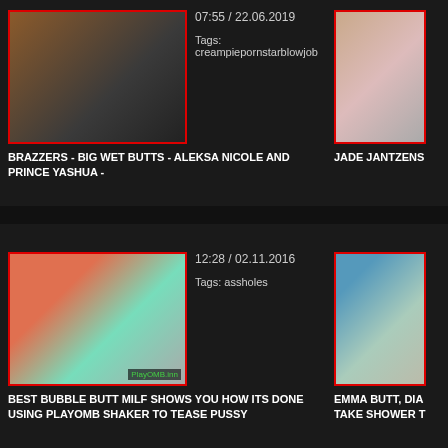[Figure (photo): Video thumbnail with red border - adult content]
07:55 / 22.06.2019
Tags: creampiepornstarblowjob
[Figure (photo): Video thumbnail with red border - adult content, partially cropped]
BRAZZERS - BIG WET BUTTS - ALEKSA NICOLE AND PRINCE YASHUA -
JADE JANTZENS
[Figure (photo): Video thumbnail with red border - adult content]
12:28 / 02.11.2016
Tags: assholes
[Figure (photo): Video thumbnail with red border - adult content, partially cropped]
BEST BUBBLE BUTT MILF SHOWS YOU HOW ITS DONE USING PLAYOMB SHAKER TO TEASE PUSSY
EMMA BUTT, DIA TAKE SHOWER T